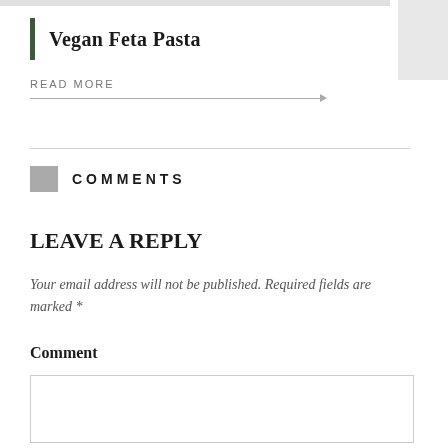Vegan Feta Pasta
READ MORE →
COMMENTS
LEAVE A REPLY
Your email address will not be published. Required fields are marked *
Comment